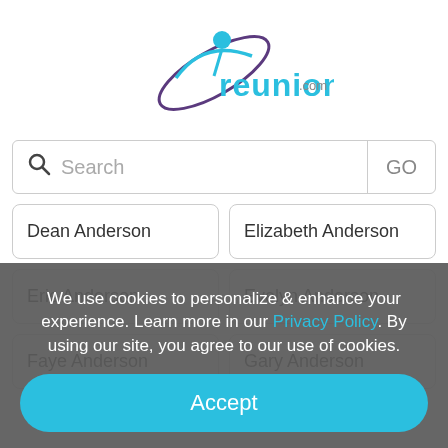[Figure (logo): reunion.com logo with teal text and a stylized figure with purple/teal swoosh]
Search
Dean Anderson
Elizabeth Anderson
Eric Anderson
Evelyn Anderson
Faye Anderson
Gary Anderson
We use cookies to personalize & enhance your experience. Learn more in our Privacy Policy. By using our site, you agree to our use of cookies.
Accept